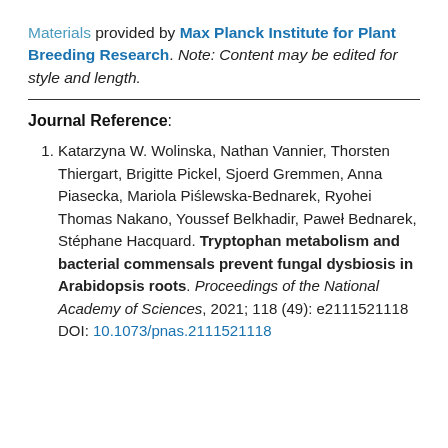Materials provided by Max Planck Institute for Plant Breeding Research. Note: Content may be edited for style and length.
Journal Reference:
Katarzyna W. Wolinska, Nathan Vannier, Thorsten Thiergart, Brigitte Pickel, Sjoerd Gremmen, Anna Piasecka, Mariola Piślewska-Bednarek, Ryohei Thomas Nakano, Youssef Belkhadir, Paweł Bednarek, Stéphane Hacquard. Tryptophan metabolism and bacterial commensals prevent fungal dysbiosis in Arabidopsis roots. Proceedings of the National Academy of Sciences, 2021; 118 (49): e2111521118 DOI: 10.1073/pnas.2111521118